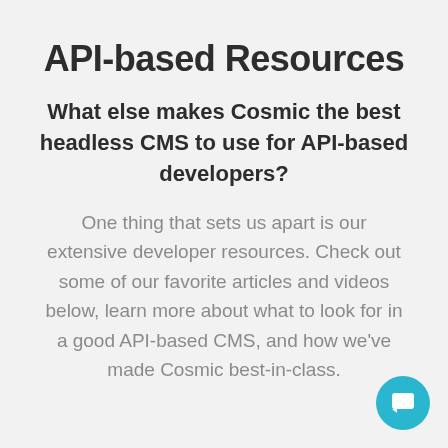API-based Resources
What else makes Cosmic the best headless CMS to use for API-based developers?
One thing that sets us apart is our extensive developer resources. Check out some of our favorite articles and videos below, learn more about what to look for in a good API-based CMS, and how we've made Cosmic best-in-class.